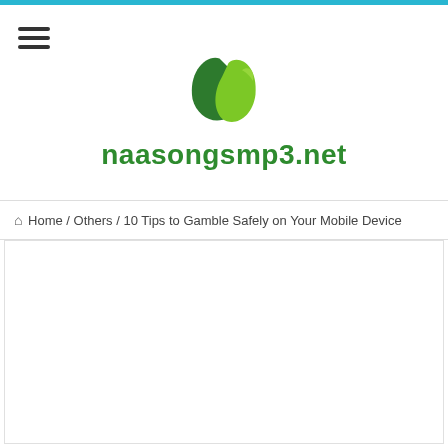[Figure (logo): Green leaf logo icon for naasongsmp3.net website]
naasongsmp3.net
Home / Others / 10 Tips to Gamble Safely on Your Mobile Device
[Figure (other): Empty white content area / advertisement placeholder below breadcrumb]